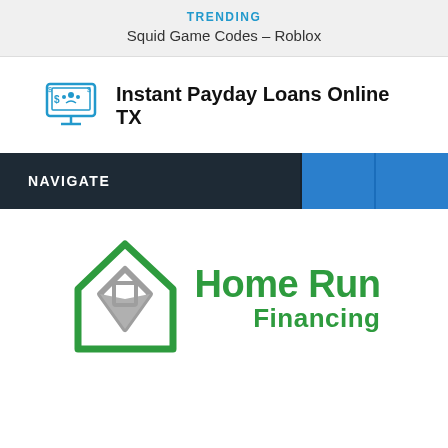TRENDING
Squid Game Codes – Roblox
[Figure (logo): Instant Payday Loans Online TX logo with a monitor/computer icon showing dollar signs and people]
Instant Payday Loans Online TX
NAVIGATE
[Figure (logo): Home Run Financing logo with a green house outline and grey shield shape]